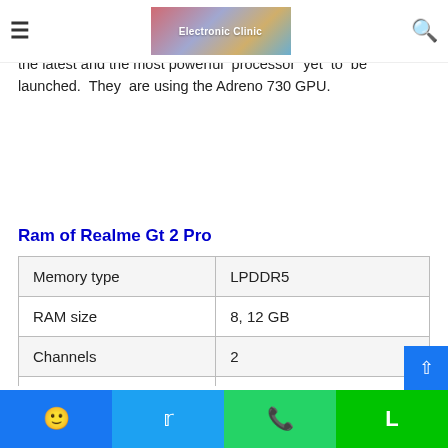Electronic Clinic (logo/navbar)
Snapdragon 8 gen 1, for the Snapdragon 8 because this processor is the latest and the most powerful processor yet to be launched. They are using the Adreno 730 GPU.
Ram of Realme Gt 2 Pro
| Memory type | LPDDR5 |
| RAM size | 8, 12 GB |
| Channels | 2 |
| Storage type | UFS 3.1 |
Facebook | Twitter | WhatsApp | Line (social sharing buttons)